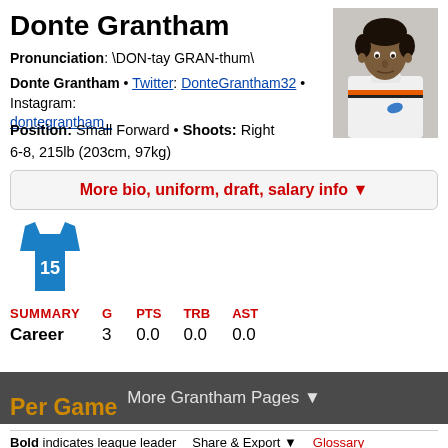Donte Grantham
Pronunciation: \DON-tay GRAN-thum\
Donte Grantham • Twitter: DonteGrantham32 • Instagram: dontegrantham_
Position: Small Forward • Shoots: Right
6-8, 215lb (203cm, 97kg)
[Figure (other): Player photo of Donte Grantham in white basketball uniform]
More bio, uniform, draft, salary info ▼
[Figure (illustration): Blue basketball jersey with number 15]
| SUMMARY | G | PTS | TRB | AST |
| --- | --- | --- | --- | --- |
| Career | 3 | 0.0 | 0.0 | 0.0 |
More Grantham Pages ▼
Per Game
Bold indicates league leader   Share & Export ▼   Glossary